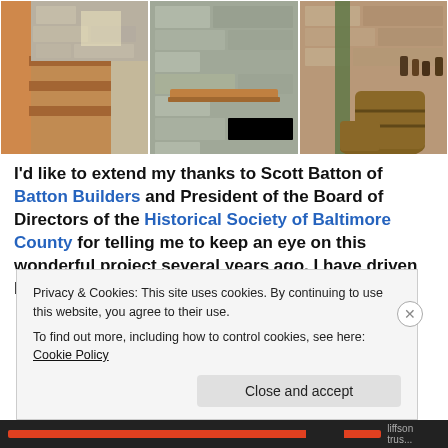[Figure (photo): Three photos side by side showing stone walls interior of a historic building: left photo shows a wooden staircase against stone wall, middle photo shows stone wall with a wooden shelf/ledge, right photo shows stone wall with wooden barrels and bottles.]
I'd like to extend my thanks to Scott Batton of Batton Builders and President of the Board of Directors of the Historical Society of Baltimore County for telling me to keep an eye on this wonderful project several years ago. I have driven by this property many times over,
Privacy & Cookies: This site uses cookies. By continuing to use this website, you agree to their use.
To find out more, including how to control cookies, see here: Cookie Policy